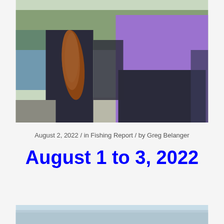[Figure (photo): Outdoor fishing photo showing a person in a purple/lavender shirt holding a large fish at a waterfront dock. Trees and water visible in background.]
August 2, 2022 / in Fishing Report / by Greg Belanger
August 1 to 3, 2022
[Figure (photo): Partial view of another outdoor fishing photo, cropped at bottom of page, showing light blue sky/water tones.]